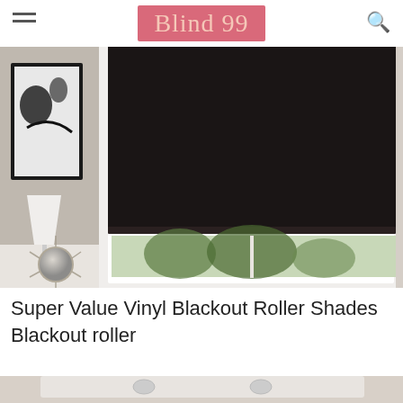Blind 99
[Figure (photo): A room interior showing a dark blackout roller shade partially covering a window. In the background are green trees visible through the bottom of the window. On the left side is a framed abstract art piece and a white lamp. A decorative metallic spherical ornament sits on a white surface in the lower left.]
Super Value Vinyl Blackout Roller Shades Blackout roller
[Figure (photo): Partial view of a second product image showing what appears to be a light-colored roller shade or blinds against a white background.]